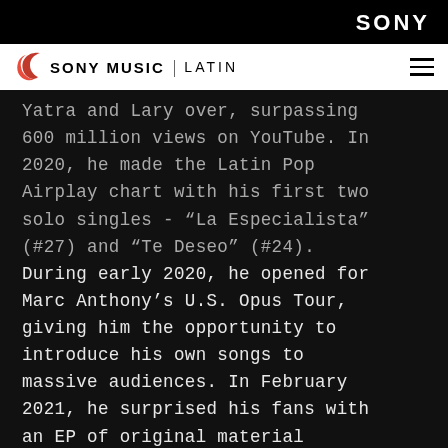SONY | SONY MUSIC LATIN
Yatra and Lary over, surpassing 600 million views on YouTube. In 2020, he made the Latin Pop Airplay chart with his first two solo singles - “La Especialista” (#27) and “Te Deseo” (#24). During early 2020, he opened for Marc Anthony’s U.S. Opus Tour, giving him the opportunity to introduce his own songs to massive audiences. In February 2021, he surprised his fans with an EP of original material